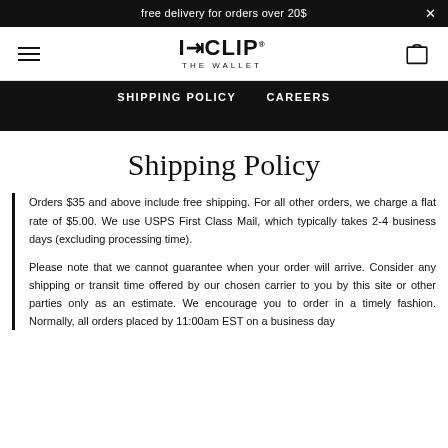free delivery for orders over 20$
[Figure (logo): I-CLIP THE WALLET logo with hamburger menu and bag icon]
SHIPPING POLICY   CAREERS
Shipping Policy
Orders $35 and above include free shipping. For all other orders, we charge a flat rate of $5.00. We use USPS First Class Mail, which typically takes 2-4 business days (excluding processing time).
Please note that we cannot guarantee when your order will arrive. Consider any shipping or transit time offered by our chosen carrier to you by this site or other parties only as an estimate. We encourage you to order in a timely fashion. Normally, all orders placed by 11:00am EST on a business day